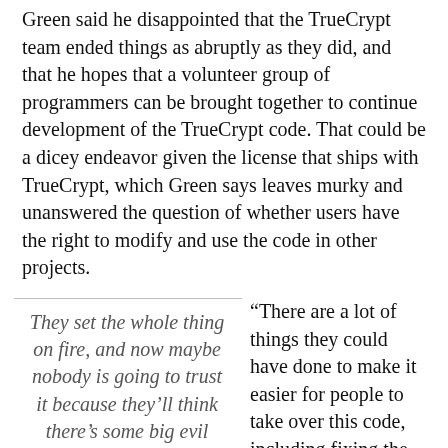Green said he disappointed that the TrueCrypt team ended things as abruptly as they did, and that he hopes that a volunteer group of programmers can be brought together to continue development of the TrueCrypt code. That could be a dicey endeavor given the license that ships with TrueCrypt, which Green says leaves murky and unanswered the question of whether users have the right to modify and use the code in other projects.
They set the whole thing on fire, and now maybe nobody is going to trust it because they'll think there's some big evil vulnerability in the
“There are a lot of things they could have done to make it easier for people to take over this code, including fixing the licensing